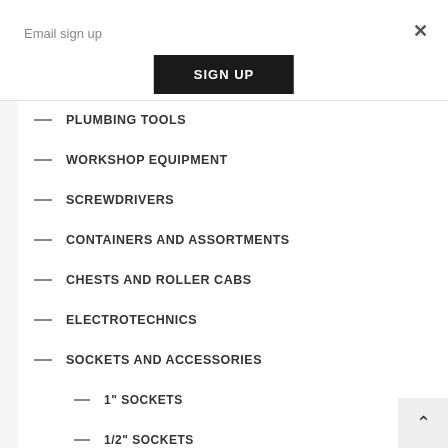Email sign up
×
SIGN UP
PLUMBING TOOLS
WORKSHOP EQUIPMENT
SCREWDRIVERS
CONTAINERS AND ASSORTMENTS
CHESTS AND ROLLER CABS
ELECTROTECHNICS
SOCKETS AND ACCESSORIES
1" SOCKETS
1/2" SOCKETS